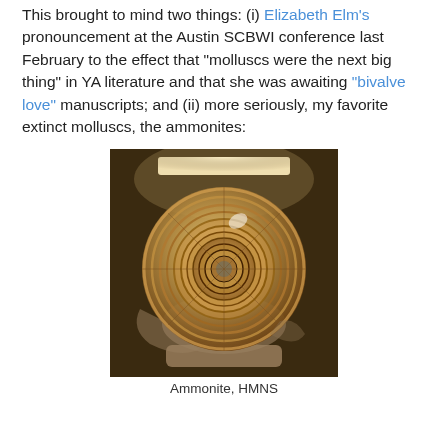This brought to mind two things: (i) Elizabeth Elm's pronouncement at the Austin SCBWI conference last February to the effect that "molluscs were the next big thing" in YA literature and that she was awaiting "bivalve love" manuscripts; and (ii) more seriously, my favorite extinct molluscs, the ammonites:
[Figure (photo): Museum display photo of a large ammonite fossil specimen (spiraling ribbed shell) mounted on a stone base, lit from above against a dark background.]
Ammonite, HMNS